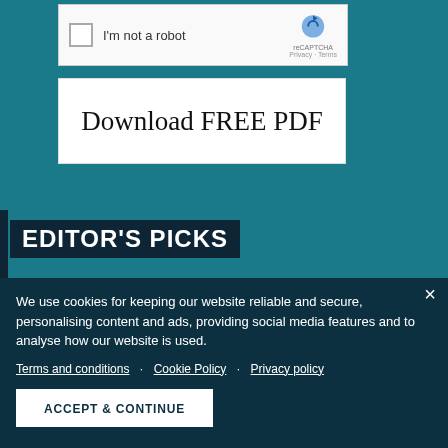[Figure (screenshot): reCAPTCHA widget with checkbox labeled 'I'm not a robot' and reCAPTCHA branding with Privacy and Terms links]
Download FREE PDF
EDITOR'S PICKS
[Figure (photo): Placeholder image thumbnail for banking article]
BANKING
Garanti BBVA granted the first green real estate development
We use cookies for keeping our website reliable and secure, personalising content and ads, providing social media features and to analyse how our website is used.
Terms and conditions · Cookie Policy · Privacy policy
ACCEPT & CONTINUE